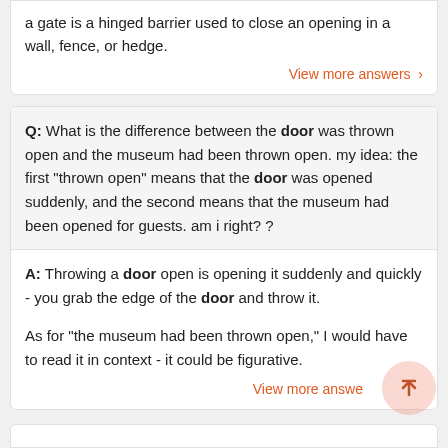a gate is a hinged barrier used to close an opening in a wall, fence, or hedge.
View more answers >
Q: What is the difference between the door was thrown open and the museum had been thrown open. my idea: the first "thrown open" means that the door was opened suddenly, and the second means that the museum had been opened for guests. am i right? ?
A: Throwing a door open is opening it suddenly and quickly - you grab the edge of the door and throw it.
As for "the museum had been thrown open," I would have to read it in context - it could be figurative.
View more answers >